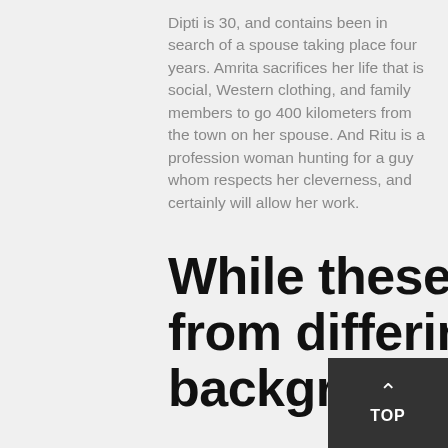Dipti is 30, and contains been in search of a spouse taking place four years. Amrita sacrifices her life that is social, Western clothing, and family members to go 400 kilometers from the town on her spouse. And Ritu is a profession woman hunting for a guy whom respects her cleverness, and certainly will allow her work.
While these ladies result from differing backgrounds, the one thing